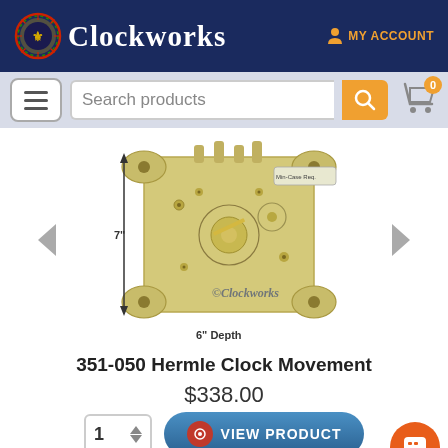[Figure (logo): Clockworks logo with decorative icon on dark blue header background]
MY ACCOUNT
[Figure (screenshot): Search bar with hamburger menu, text input showing 'Search products', orange search button, and cart icon with 0 badge]
[Figure (photo): 351-050 Hermle Clock Movement shown from rear, with measurement annotations: 7 inch height and 6 inch Depth, Clockworks watermark overlay]
351-050 Hermle Clock Movement
$338.00
1
VIEW PRODUCT